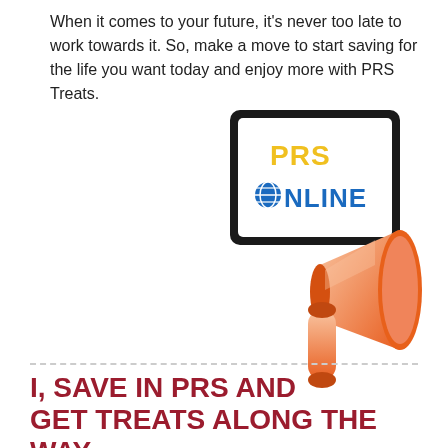When it comes to your future, it's never too late to work towards it. So, make a move to start saving for the life you want today and enjoy more with PRS Treats.
[Figure (illustration): 3D illustration of a megaphone/loudspeaker holding a tablet/screen displaying 'PRS ONLINE' logo text in yellow and blue on white background. The megaphone is orange-colored.]
I, SAVE IN PRS AND GET TREATS ALONG THE WAY